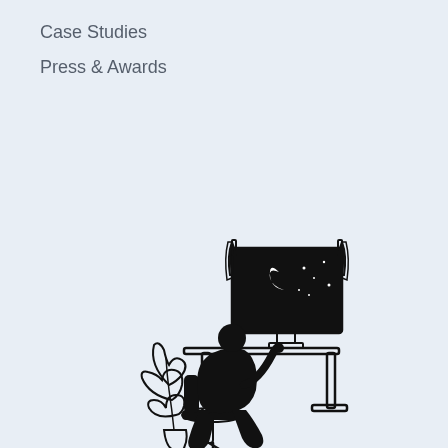Case Studies
Press & Awards
[Figure (illustration): Black and white illustration of a person sitting at a desk working on a computer late at night, with a window showing a crescent moon and stars, and a plant nearby]